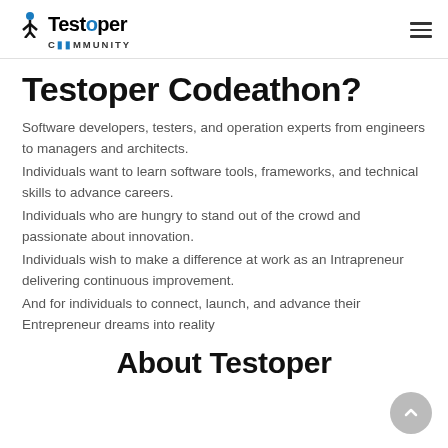Testoper COMMUNITY
Testoper Codeathon?
Software developers, testers, and operation experts from engineers to managers and architects.
Individuals want to learn software tools, frameworks, and technical skills to advance careers.
Individuals who are hungry to stand out of the crowd and passionate about innovation.
Individuals wish to make a difference at work as an Intrapreneur delivering continuous improvement.
And for individuals to connect, launch, and advance their Entrepreneur dreams into reality
About Testoper